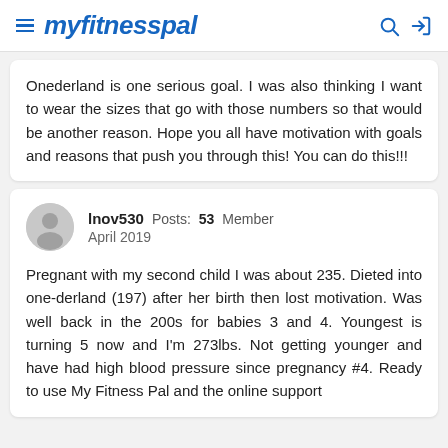myfitnesspal
Onederland is one serious goal. I was also thinking I want to wear the sizes that go with those numbers so that would be another reason. Hope you all have motivation with goals and reasons that push you through this! You can do this!!!
lnov530  Posts: 53  Member
April 2019
Pregnant with my second child I was about 235. Dieted into one-derland (197) after her birth then lost motivation. Was well back in the 200s for babies 3 and 4. Youngest is turning 5 now and I'm 273lbs. Not getting younger and have had high blood pressure since pregnancy #4. Ready to use My Fitness Pal and the online support